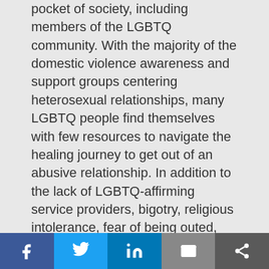pocket of society, including members of the LGBTQ community. With the majority of the domestic violence awareness and support groups centering heterosexual relationships, many LGBTQ people find themselves with few resources to navigate the healing journey to get out of an abusive relationship. In addition to the lack of LGBTQ-affirming service providers, bigotry, religious intolerance, fear of being outed, and exclusion from family can add additional complications for LGBTQ survivors of violence.

Charise Walker knows this experience all too well. An Oklahoma native, Charise came out to her family in high school, and the reaction from her family forced her to leave home and live out on
Facebook | Twitter | LinkedIn | Email | Share